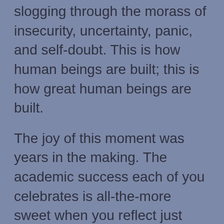slogging through the morass of insecurity, uncertainty, panic, and self-doubt. This is how human beings are built; this is how great human beings are built.
The joy of this moment was years in the making. The academic success each of you celebrates is all-the-more sweet when you reflect just how hard you had to strive, how far you had to traverse, how much you had to sacrifice. You are surrounded by family and friends who stood by you, encouraged and helped you, and even got out of your way when you hit your stride.